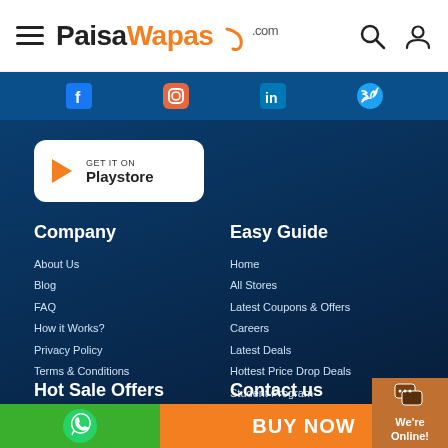PaisaWapas.com
[Figure (logo): PaisaWapas.com logo with hamburger menu, search and user icons in header]
[Figure (illustration): Social media icons bar: Facebook, Instagram, LinkedIn, Twitter on dark blue background]
[Figure (illustration): GET IT ON Playstore button with play icon]
Company
Easy Guide
About Us
Blog
FAQ
How it Works?
Privacy Policy
Terms & Conditions
Home
All Stores
Latest Coupons & Offers
Careers
Latest Deals
Hottest Price Drop Deals
Student Program
Hot Sale Offers
Contact us
[Figure (illustration): WhatsApp icon on green background, BUY NOW text on orange background, and We're Online! chat widget]
BUY NOW
We're Online!